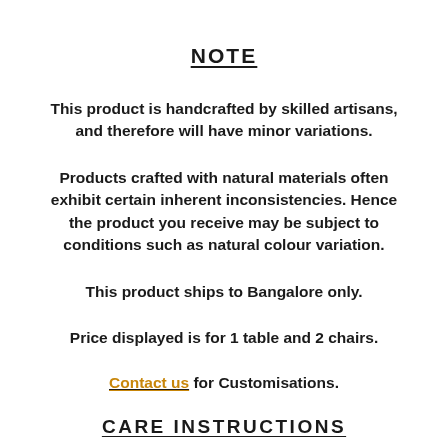NOTE
This product is handcrafted by skilled artisans, and therefore will have minor variations.
Products crafted with natural materials often exhibit certain inherent inconsistencies. Hence the product you receive may be subject to conditions such as natural colour variation.
This product ships to Bangalore only.
Price displayed is for 1 table and 2 chairs.
Contact us for Customisations.
CARE INSTRUCTIONS